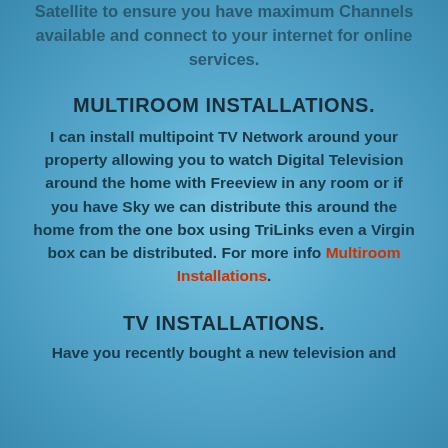Satellite to ensure you have maximum Channels available and connect to your internet for online services.
MULTIROOM INSTALLATIONS.
I can install multipoint TV Network around your property allowing you to watch Digital Television around the home with Freeview in any room or if you have Sky we can distribute this around the home from the one box using TriLinks even a Virgin box can be distributed. For more info Multiroom Installations.
TV INSTALLATIONS.
Have you recently bought a new television and